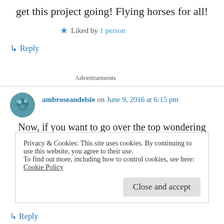get this project going! Flying horses for all!
★ Liked by 1 person
↳ Reply
Advertisements
ambroseandelsie on June 9, 2016 at 6:15 pm
Now, if you want to go over the top wondering
Privacy & Cookies: This site uses cookies. By continuing to use this website, you agree to their use.
To find out more, including how to control cookies, see here: Cookie Policy
Close and accept
↳ Reply